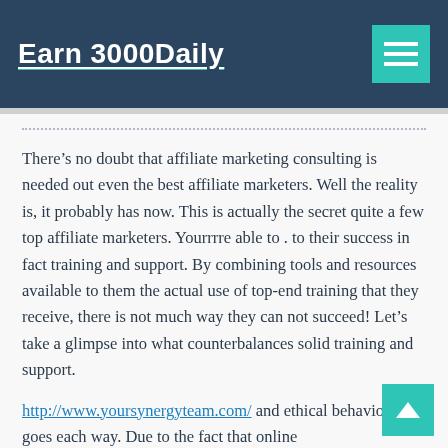Earn 3000Daily
There’s no doubt that affiliate marketing consulting is needed out even the best affiliate marketers. Well the reality is, it probably has now. This is actually the secret quite a few top affiliate marketers. Yourrrre able to . to their success in fact training and support. By combining tools and resources available to them the actual use of top-end training that they receive, there is not much way they can not succeed! Let’s take a glimpse into what counterbalances solid training and support.
http://www.yoursynergyteam.com/ and ethical behaviour goes each way. Due to the fact that online